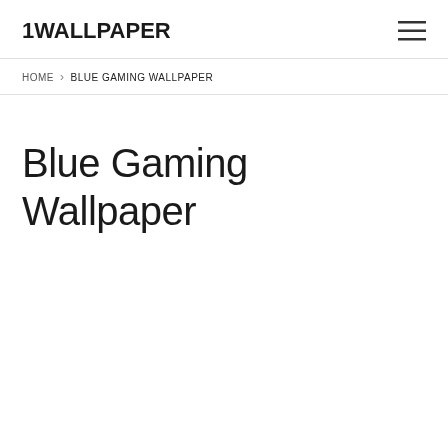1WALLPAPER
HOME > BLUE GAMING WALLPAPER
Blue Gaming Wallpaper